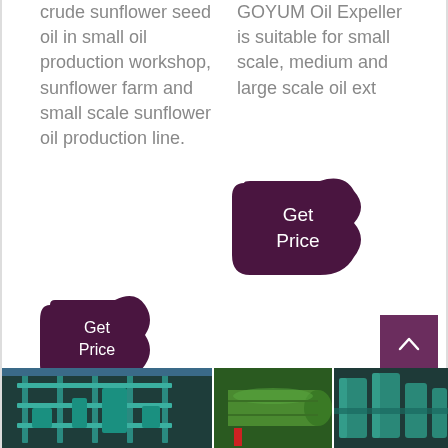crude sunflower seed oil in small oil production workshop, sunflower farm and small scale sunflower oil production line.
[Figure (other): Get Price button with dark purple blob shape]
GOYUM Oil Expeller is suitable for small scale, medium and large scale oil ext
[Figure (other): Get Price button with dark purple blob shape]
[Figure (other): Scroll to top arrow button in dark purple square]
[Figure (photo): Industrial oil processing machinery with teal/turquoise coloring, left panel]
[Figure (photo): Industrial green pipes and machinery, center panel]
[Figure (photo): Industrial oil processing equipment with teal coloring, right panel]